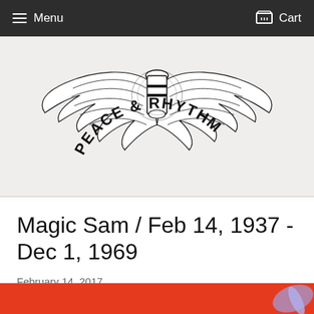Menu  Cart
[Figure (logo): Peace & Rhythm logo: wings spread around a conga drum, with 'PEACE & RHYTHM' text in an arc below in bold serif-style lettering, black ink illustration on off-white textured background]
Magic Sam / Feb 14, 1937 - Dec 1, 1969
February 14, 2017
[Figure (photo): Red banner at bottom of page with partial illustration visible at right edge]